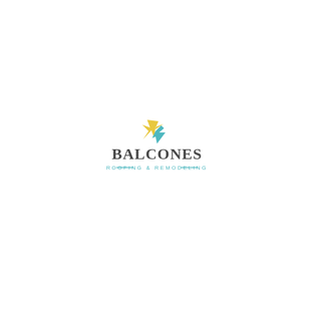[Figure (logo): Balcones Roofing & Remodeling logo: a yellow and teal star/lightning bolt icon above the text 'BALCONES' in bold dark gray serif font, with 'ROOFING & REMODELING' in smaller teal spaced letters centered below, flanked by short teal horizontal lines.]